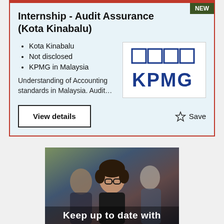Internship - Audit Assurance (Kota Kinabalu)
Kota Kinabalu
Not disclosed
KPMG in Malaysia
Understanding of Accounting standards in Malaysia. Audit…
[Figure (logo): KPMG logo — four blue squares above blue bold text KPMG]
[Figure (photo): Photo of two professionals (man in background, woman with glasses in foreground) with text overlay 'Keep up to date with']